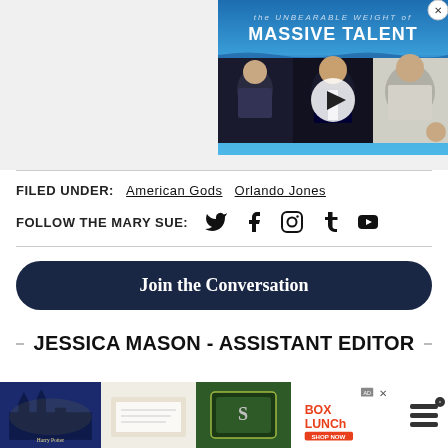[Figure (screenshot): Video thumbnail for 'The Unbearable Weight of Massive Talent' showing three people in a split-screen interview format, with a play button overlay. A close (X) button is visible in the top right corner.]
FILED UNDER: American Gods  Orlando Jones
FOLLOW THE MARY SUE: [Twitter] [Facebook] [Instagram] [Tumblr] [YouTube]
Join the Conversation
JESSICA MASON - ASSISTANT EDITOR
[Figure (infographic): Advertisement bar at the bottom featuring Harry Potter merchandise from Box Lunch and other branded content]